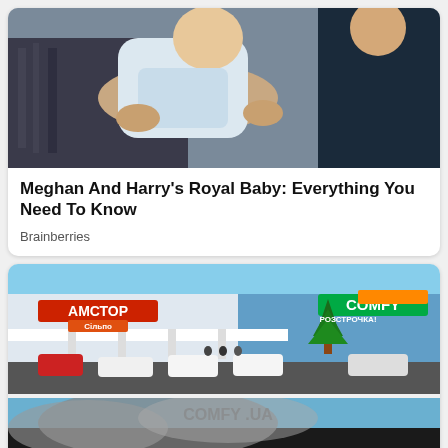[Figure (photo): Photo of a baby being held by adults, likely Meghan and Harry's baby]
Meghan And Harry's Royal Baby: Everything You Need To Know
Brainberries
[Figure (photo): Photo of a shopping center with АМСТОР and COMFY signs, with a Christmas tree in front, cars in parking lot]
[Figure (photo): Photo of the same shopping center on fire/destroyed, with firefighters and smoke]